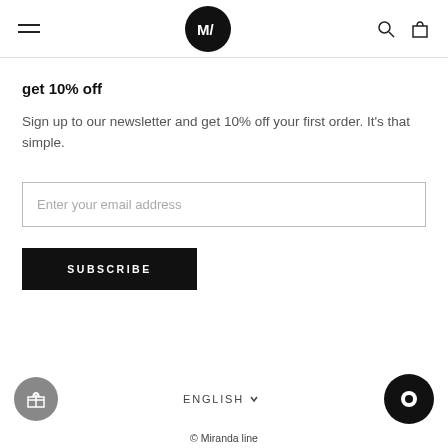M/ (Miranda line logo) — navigation header with hamburger menu, logo, search and cart icons
get 10% off
Sign up to our newsletter and get 10% off your first order. It's that simple.
Enter your email address
SUBSCRIBE
ENGLISH  © Miranda line